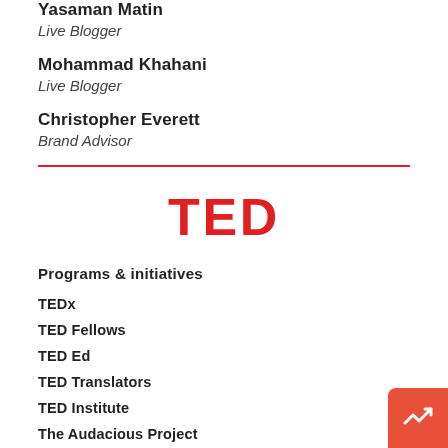Yasaman Matin
Live Blogger
Mohammad Khahani
Live Blogger
Christopher Everett
Brand Advisor
[Figure (logo): TED logo in bold red uppercase letters]
Programs & initiatives
TEDx
TED Fellows
TED Ed
TED Translators
TED Institute
The Audacious Project
TED@Work